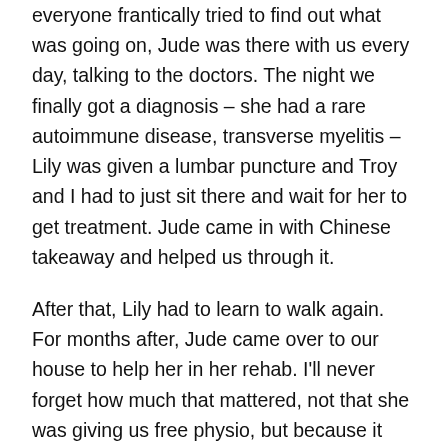everyone frantically tried to find out what was going on, Jude was there with us every day, talking to the doctors. The night we finally got a diagnosis – she had a rare autoimmune disease, transverse myelitis – Lily was given a lumbar puncture and Troy and I had to just sit there and wait for her to get treatment. Jude came in with Chinese takeaway and helped us through it.
After that, Lily had to learn to walk again. For months after, Jude came over to our house to help her in her rehab. I'll never forget how much that mattered, not that she was giving us free physio, but because it was Jude who could be with Lily. She and Lily – who has completely recovered – have now formed a very special bond.
Pole has been a great outlet for me. Jude and I are both very focused – you have to be when you're in a knot high up in the air. It's partly scary and partly funny, especially when you've got your face in a really strange place.